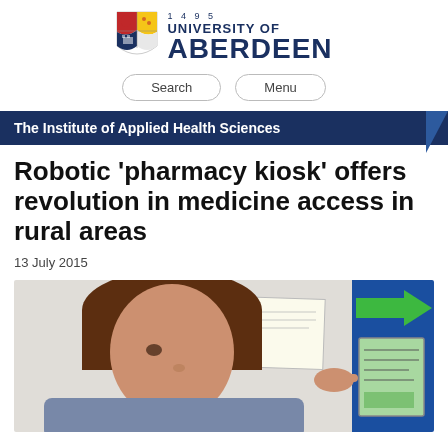[Figure (logo): University of Aberdeen logo with shield/crest and text '1495 UNIVERSITY OF ABERDEEN']
Search   Menu
The Institute of Applied Health Sciences
Robotic 'pharmacy kiosk' offers revolution in medicine access in rural areas
13 July 2015
[Figure (photo): A woman using a blue robotic pharmacy kiosk machine, touching its screen. A green arrow is visible on the machine. A paper notice is on the wall behind her.]